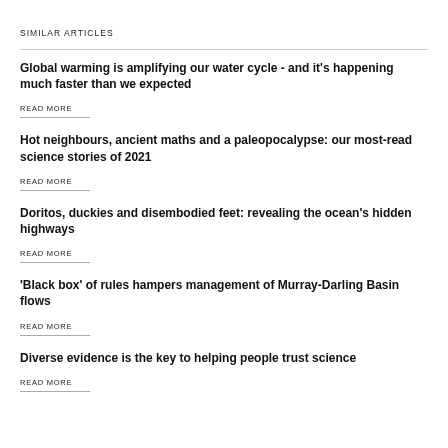SIMILAR ARTICLES
Global warming is amplifying our water cycle - and it's happening much faster than we expected
READ MORE
Hot neighbours, ancient maths and a paleopocalypse: our most-read science stories of 2021
READ MORE
Doritos, duckies and disembodied feet: revealing the ocean's hidden highways
READ MORE
'Black box' of rules hampers management of Murray-Darling Basin flows
READ MORE
Diverse evidence is the key to helping people trust science
READ MORE